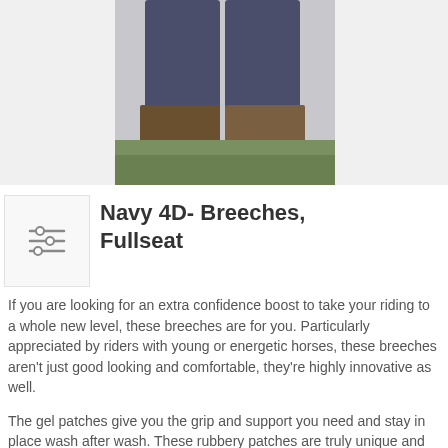[Figure (photo): Photo of a person wearing navy riding breeches and tall brown boots, shown from waist down, outdoors with greenery in background]
Navy 4D- Breeches, Fullseat
If you are looking for an extra confidence boost to take your riding to a whole new level, these breeches are for you.  Particularly appreciated by riders with young or energetic horses, these breeches aren't just good looking and comfortable, they're highly innovative as well.
The gel patches give you the grip and support you need and stay in place wash after wash.  These rubbery patches are truly unique and give you the saddle bond you need to fill you with the confidence you're looking for to take your riding up a notch.
These unique Aiver Sport 4D-Gel Breeches come with 4-way stretch which gives you a firm, comfortable and